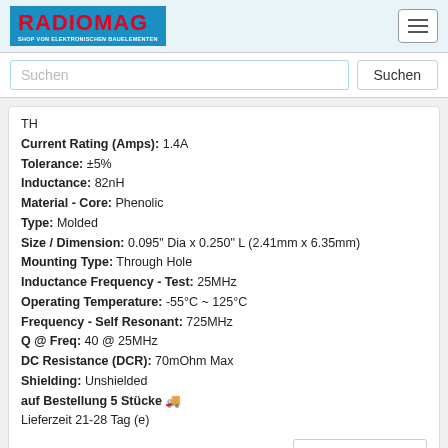[Figure (logo): Radiomag logo - blue background with red RADIOMAG text and white subtitle SHOP VON ELEKTRONISCHEN BAUELEMENTEN]
TH
Current Rating (Amps): 1.4A
Tolerance: ±5%
Inductance: 82nH
Material - Core: Phenolic
Type: Molded
Size / Dimension: 0.095" Dia x 0.250" L (2.41mm x 6.35mm)
Mounting Type: Through Hole
Inductance Frequency - Test: 25MHz
Operating Temperature: -55°C ~ 125°C
Frequency - Self Resonant: 725MHz
Q @ Freq: 40 @ 25MHz
DC Resistance (DCR): 70mOhm Max
Shielding: Unshielded
auf Bestellung 5 Stücke
Lieferzeit 21-28 Tag (e)
kaufen
2510-48H